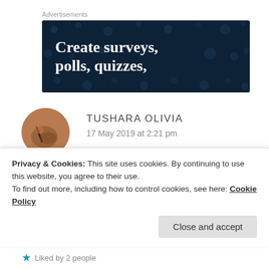Advertisements
[Figure (screenshot): Dark navy advertisement banner reading 'Create surveys, polls, quizzes,' in bold white serif font with subtle dot pattern background.]
TUSHARA OLIVIA
17 May 2019 at 2:21 pm
It i... (partial comment text, cut off)
Privacy & Cookies: This site uses cookies. By continuing to use this website, you agree to their use.
To find out more, including how to control cookies, see here: Cookie Policy
Close and accept
Liked by 2 people